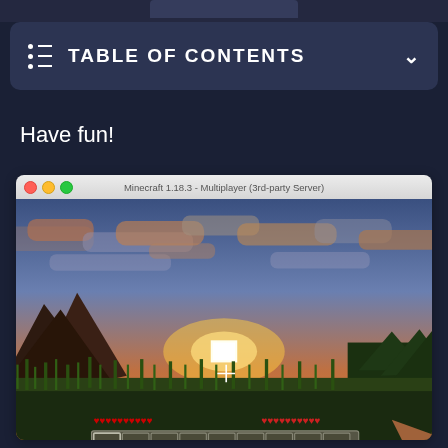TABLE OF CONTENTS
Have fun!
[Figure (screenshot): Minecraft 1.18.3 multiplayer gameplay screenshot showing a sunset scene with orange sky, clouds, mountains, grass, and the Minecraft HUD with health bar and hotbar visible. Mac OS window chrome with red/yellow/green traffic light buttons and title 'Minecraft 1.18.3 - Multiplayer (3rd-party Server)'.]